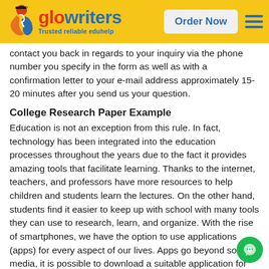glowriters – Trusted reliable eduhelp | Order Now
contact you back in regards to your inquiry via the phone number you specify in the form as well as with a confirmation letter to your e-mail address approximately 15-20 minutes after you send us your question.
College Research Paper Example
Education is not an exception from this rule. In fact, technology has been integrated into the education processes throughout the years due to the fact it provides amazing tools that facilitate learning. Thanks to the internet, teachers, and professors have more resources to help children and students learn the lectures. On the other hand, students find it easier to keep up with school with many tools they can use to research, learn, and organize. With the rise of smartphones, we have the option to use applications (apps) for every aspect of our lives. Apps go beyond social media, it is possible to download a suitable application for everything. What about education? Would the introduction of apps into education have a positive or negative impact? Despite the fact all of us believe the impact